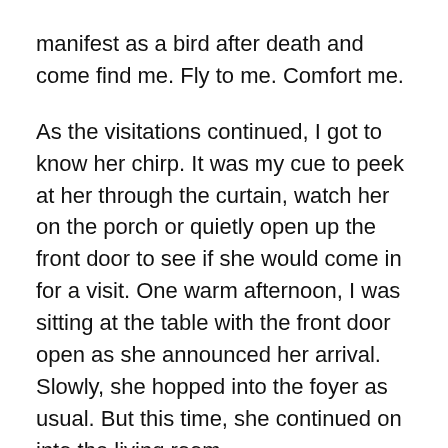manifest as a bird after death and come find me. Fly to me. Comfort me.
As the visitations continued, I got to know her chirp. It was my cue to peek at her through the curtain, watch her on the porch or quietly open up the front door to see if she would come in for a visit. One warm afternoon, I was sitting at the table with the front door open as she announced her arrival. Slowly, she hopped into the foyer as usual. But this time, she continued on into the living room.
In the far corner of the apartment, I had set up an altar to my mama with photos of her throughout her life since her childhood growing up on a farm in upstate New York, her favorite coffee cup was there, her wedding ring, a cryptic handwritten note to me that I found in a book in her